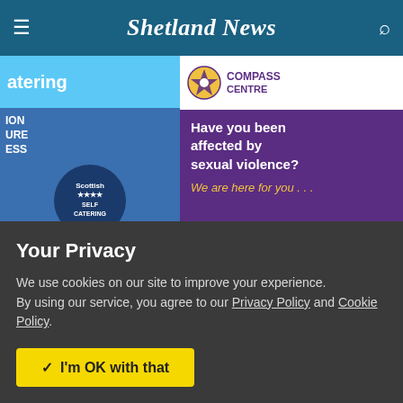Shetland News
[Figure (screenshot): Advertisement banner: left side shows Scottish tourism ad with blue background and badge; center shows Compass Centre purple ad reading 'Have you been affected by sexual violence? We are here for you...']
1 of 13
Advertisement
“There have been instances where passing places and turning
Your Privacy
We use cookies on our site to improve your experience.
By using our service, you agree to our Privacy Policy and Cookie Policy.
✓  I'm OK with that